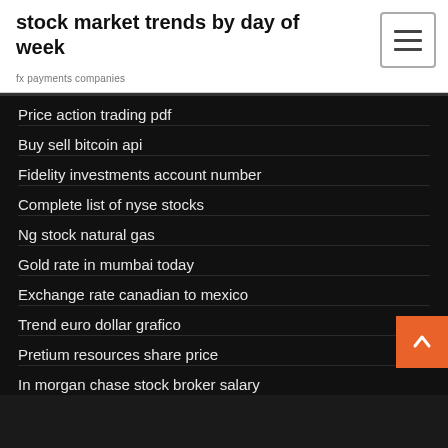stock market trends by day of week
fx payments companies
Price action trading pdf
Buy sell bitcoin api
Fidelity investments account number
Complete list of nyse stocks
Ng stock natural gas
Gold rate in mumbai today
Exchange rate canadian to mexico
Trend euro dollar grafico
Pretium resources share price
In morgan chase stock broker salary